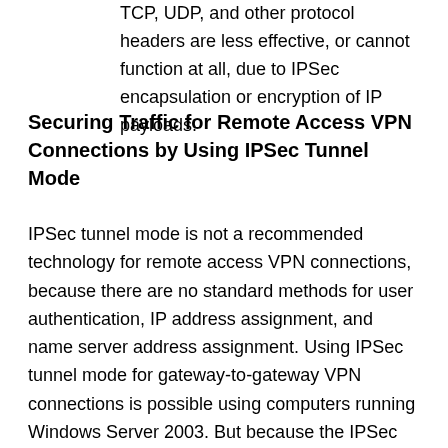TCP, UDP, and other protocol headers are less effective, or cannot function at all, due to IPSec encapsulation or encryption of IP payloads.
Securing Traffic for Remote Access VPN Connections by Using IPSec Tunnel Mode
IPSec tunnel mode is not a recommended technology for remote access VPN connections, because there are no standard methods for user authentication, IP address assignment, and name server address assignment. Using IPSec tunnel mode for gateway-to-gateway VPN connections is possible using computers running Windows Server 2003. But because the IPSec tunnel is not represented as a logical interface over which packets can be forwarded and received, routes cannot be assigned to use the IPSec tunnel and routing protocols do not operate over IPSec tunnels. Therefore, the use of IPSec tunnel mode is